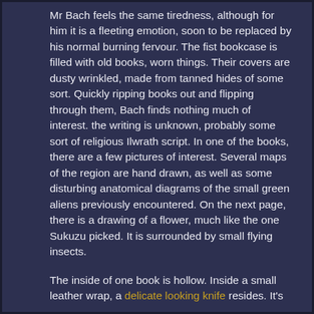Mr Bach feels the same tiredness, although for him it is a fleeting emotion, soon to be replaced by his normal burning fervour. The fist bookcase is filled with old books, worn things. Their covers are dusty wrinkled, made from tanned hides of some sort. Quickly ripping books out and flipping through them, Bach finds nothing much of interest. the writing is unknown, probably some sort of religious Ilwrath script. In one of the books, there are a few pictures of interest. Several maps of the region are hand drawn, as well as some disturbing anatomical diagrams of the small green aliens previously encountered. On the next page, there is a drawing of a flower, much like the one Sukuzu picked. It is surrounded by small flying insects.
The inside of one book is hollow. Inside a small leather wrap, a delicate looking knife resides. It's made of ornately crafted metal, yet still looks Ilwrath in design. It gives off a strange feeling, which makes Bach uncomfortable. Some sort of Demon madness.
The second bookcase yields more interesting things. The books here are more modern and easily studied. They mostly appear to be Androsynth military manuals and operational guidelines. Some of them will be highly prised back at HQ. One in particular catches Bach's interest, containing neat